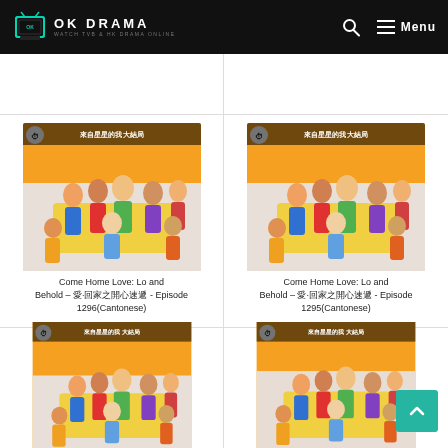OK DRAMA - WATCH TVB & HK DRAMA ONLINE
[Figure (screenshot): Drama thumbnail for Come Home Love: Lo and Behold Episode 1296]
Come Home Love: Lo and Behold – 愛·回家之開心速遞 - Episode 1296(Cantonese)
[Figure (screenshot): Drama thumbnail for Come Home Love: Lo and Behold Episode 1295]
Come Home Love: Lo and Behold – 愛·回家之開心速遞 - Episode 1295(Cantonese)
[Figure (screenshot): Drama thumbnail for Come Home Love: Lo and Behold Episode (lower left)]
[Figure (screenshot): Drama thumbnail for Come Home Love: Lo and Behold Episode (lower right)]